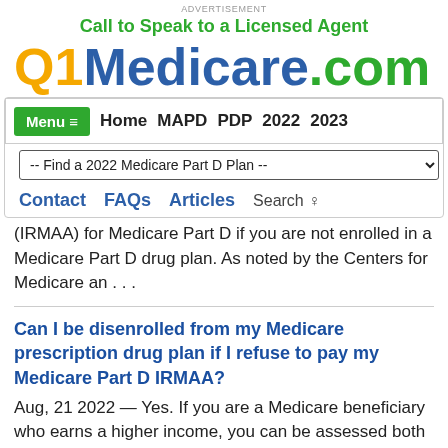Advertisement
Call to Speak to a Licensed Agent
Q1Medicare.com
Menu ≡   Home   MAPD   PDP   2022   2023
-- Find a 2022 Medicare Part D Plan --
Contact   FAQs   Articles   Search
(IRMAA) for Medicare Part D if you are not enrolled in a Medicare Part D drug plan. As noted by the Centers for Medicare an . . .
Can I be disenrolled from my Medicare prescription drug plan if I refuse to pay my Medicare Part D IRMAA?
Aug, 21 2022 — Yes.  If you are a Medicare beneficiary who earns a higher income, you can be assessed both a Medicare Part D and a